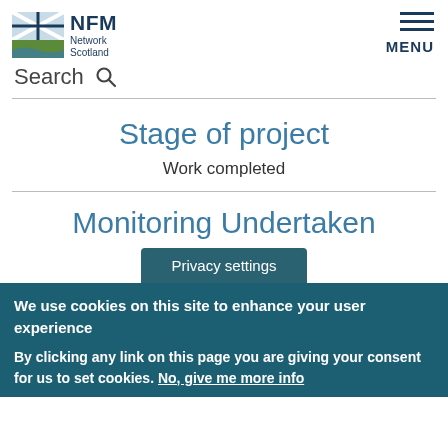[Figure (logo): NFM Network Scotland logo with Scottish flag and landscape icon]
MENU
Search
Stage of project
Work completed
Monitoring Undertaken
Privacy settings
We use cookies on this site to enhance your user experience
By clicking any link on this page you are giving your consent for us to set cookies. No, give me more info